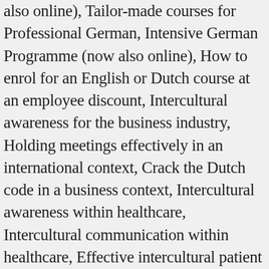also online), Tailor-made courses for Professional German, Intensive German Programme (now also online), How to enrol for an English or Dutch course at an employee discount, Intercultural awareness for the business industry, Holding meetings effectively in an international context, Crack the Dutch code in a business context, Intercultural awareness within healthcare, Intercultural communication within healthcare, Effective intercultural patient conversations, Collaboration and diversity in healthcare teams, Intercultural awareness for municipal officers, Intercultural communication within the public domain, Information provision and recommendations within an intercultural context, Holding meetings effectively in an intercultural setting, Intercultureel bewustzijn binnen het onderwijs, Intercultural competencies within education, Intercultural skills for mentors and student counsellors,